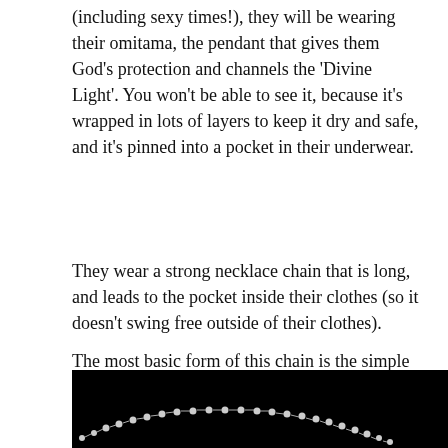(including sexy times!), they will be wearing their omitama, the pendant that gives them God's protection and channels the 'Divine Light'. You won't be able to see it, because it's wrapped in lots of layers to keep it dry and safe, and it's pinned into a pocket in their underwear.
They wear a strong necklace chain that is long, and leads to the pocket inside their clothes (so it doesn't swing free outside of their clothes).
The most basic form of this chain is the simple ball chain. Depending on people's means, they may have fancier chains, but they will always be strong. No light delicate necklaces here. That omitama is more precious than your own life, so you'd better put it on a strong chain!
[Figure (photo): Black and white photograph showing a ball chain necklace against a black background.]